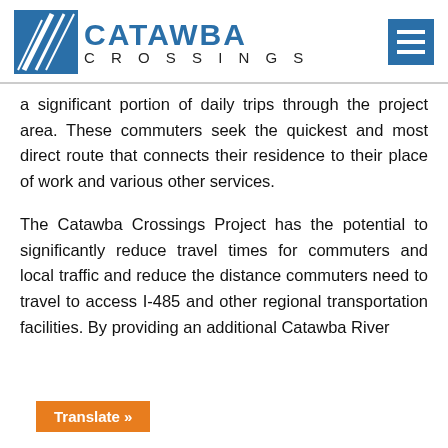[Figure (logo): Catawba Crossings logo with road icon and text]
a significant portion of daily trips through the project area. These commuters seek the quickest and most direct route that connects their residence to their place of work and various other services.
The Catawba Crossings Project has the potential to significantly reduce travel times for commuters and local traffic and reduce the distance commuters need to travel to access I-485 and other regional transportation facilities. By providing an additional Catawba River
Translate »